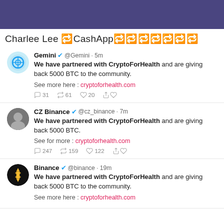Charlee Lee 🔁CashApp🔁🔁🔁🔁🔁🔁🔁
[Figure (screenshot): Tweet from Gemini @Gemini 5m: We have partnered with CryptoForHealth and are giving back 5000 BTC to the community. See more here: cryptoforhealth.com. Likes: 31, Retweets: 61, Hearts: 20]
[Figure (screenshot): Tweet from CZ Binance @cz_binance 7m: We have partnered with CryptoForHealth and are giving back 5000 BTC. See for more: cryptoforhealth.com. Likes: 247, Retweets: 159, Hearts: 122]
[Figure (screenshot): Tweet from Binance @binance 19m: We have partnered with CryptoForHealth and are giving back 5000 BTC to the community. See more here: cryptoforhealth.com]